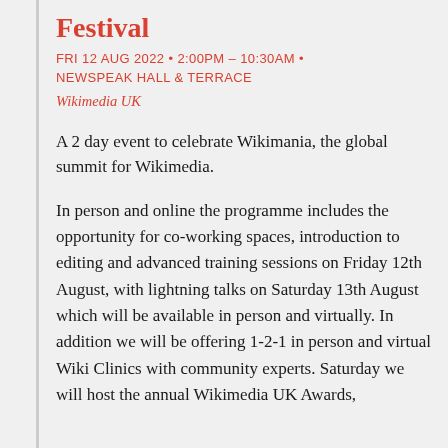Festival
FRI 12 AUG 2022 • 2:00PM – 10:30AM • NEWSPEAK HALL & TERRACE
Wikimedia UK
A 2 day event to celebrate Wikimania, the global summit for Wikimedia.
In person and online the programme includes the opportunity for co-working spaces, introduction to editing and advanced training sessions on Friday 12th August, with lightning talks on Saturday 13th August which will be available in person and virtually. In addition we will be offering 1-2-1 in person and virtual Wiki Clinics with community experts. Saturday we will host the annual Wikimedia UK Awards,